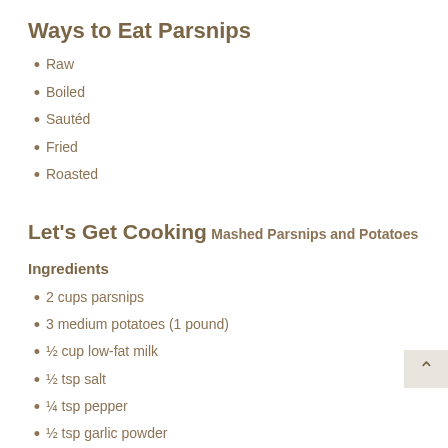Ways to Eat Parsnips
Raw
Boiled
Sautéd
Fried
Roasted
Let's Get Cooking
Mashed Parsnips and Potatoes
Ingredients
2 cups parsnips
3 medium potatoes (1 pound)
½ cup low-fat milk
½ tsp salt
¼ tsp pepper
½ tsp garlic powder
1 Tbsp butter